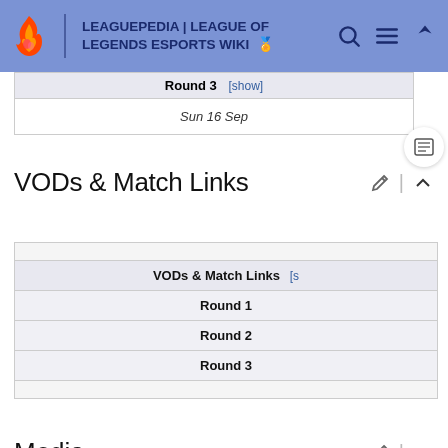LEAGUEPEDIA | LEAGUE OF LEGENDS ESPORTS WIKI
| Round 3 | [show] |
| --- | --- |
| Sun 16 Sep |  |
VODs & Match Links
| VODs & Match Links | [s |
| --- | --- |
| Round 1 |  |
| Round 2 |  |
| Round 3 |  |
Media
Streams